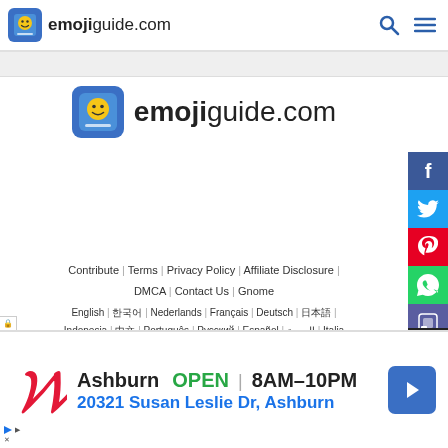emojiguide.com
[Figure (logo): emojiguide.com main logo with smiley face icon]
Contribute | Terms | Privacy Policy | Affiliate Disclosure | DMCA | Contact Us | Gnome
English | 한국어 | Nederlands | Français | Deutsch | 日本語 | Indonesia | 中文 | Português | Русский | Español | العربية | Italian | বাংলা | Tagalog
[Figure (screenshot): Walgreens advertisement: Ashburn OPEN 8AM-10PM, 20321 Susan Leslie Dr, Ashburn]